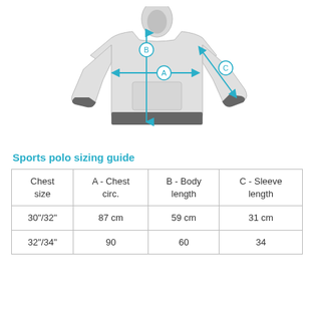[Figure (illustration): Diagram of a hoodie/sports polo with measurement arrows labeled A (chest circumference, horizontal), B (body length, vertical), and C (sleeve length, diagonal). Arrows are drawn in cyan/blue on a light gray hoodie illustration.]
Sports polo sizing guide
| Chest size | A - Chest circ. | B - Body length | C - Sleeve length |
| --- | --- | --- | --- |
| 30"/32" | 87 cm | 59 cm | 31 cm |
| 32"/34" | 90 | 60 | 34 |